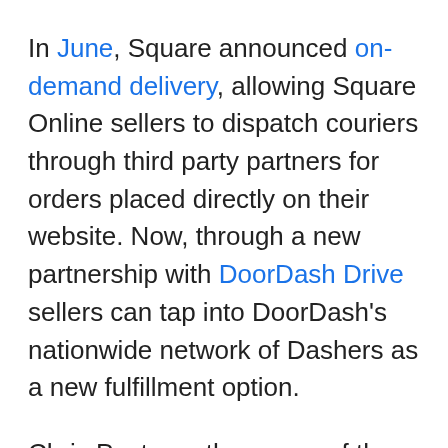In June, Square announced on-demand delivery, allowing Square Online sellers to dispatch couriers through third party partners for orders placed directly on their website. Now, through a new partnership with DoorDash Drive sellers can tap into DoorDash’s nationwide network of Dashers as a new fulfillment option.
Chris Pastena, the owner of the Chop Bar, a fast-casual restaurant in Oakland, California has been using on-demand delivery for Square Online said it helped him stay ahead of the curve in recent months. “With the threat of